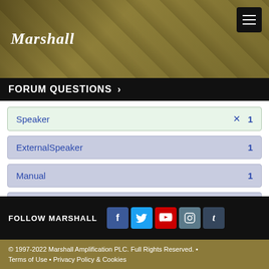[Figure (photo): Marshall amplifiers website header with guitar/music background in sepia/gold tone, Marshall logo on left, hamburger menu button top right]
FORUM QUESTIONS >
Speaker  ✕  1
ExternalSpeaker  1
Manual  1
Power  1
Showing result 1 of 1
FOLLOW MARSHALL
© 1997-2022 Marshall Amplification PLC. Full Rights Reserved. • Terms of Use • Privacy Policy & Cookies